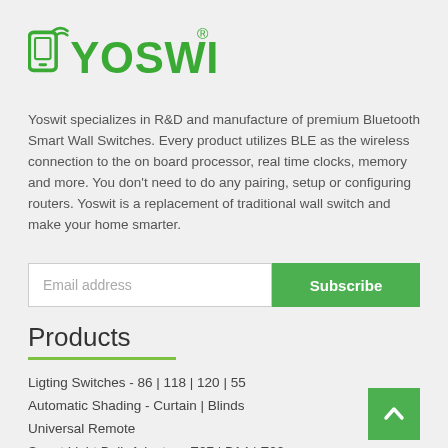[Figure (logo): Yoswit green logo with registered trademark symbol]
Yoswit specializes in R&D and manufacture of premium Bluetooth Smart Wall Switches. Every product utilizes BLE as the wireless connection to the on board processor, real time clocks, memory and more. You don't need to do any pairing, setup or configuring routers. Yoswit is a replacement of traditional wall switch and make your home smarter.
Email address  Subscribe
Products
Ligting Switches - 86 | 118 | 120 | 55
Automatic Shading - Curtain | Blinds
Universal Remote
Smart Light Bulb Adapter - E27 | B14 | E22